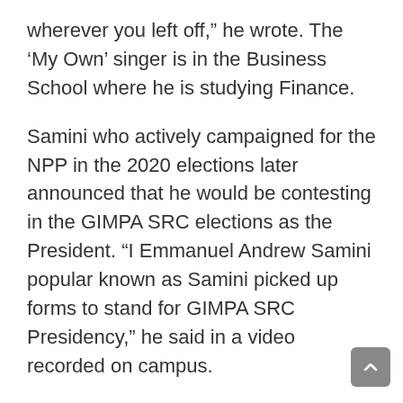wherever you left off,” he wrote. The ‘My Own’ singer is in the Business School where he is studying Finance.
Samini who actively campaigned for the NPP in the 2020 elections later announced that he would be contesting in the GIMPA SRC elections as the President. “I Emmanuel Andrew Samini popular known as Samini picked up forms to stand for GIMPA SRC Presidency,” he said in a video recorded on campus.
“If all things go well and I am approved, I will be going for the elections coming few days time,” he continued. Campaigning for votes, he added that…